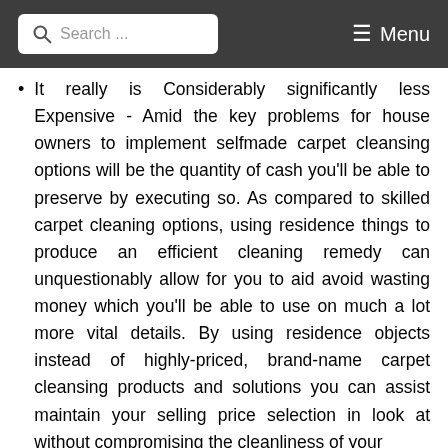Search ... Menu
It really is Considerably significantly less Expensive - Amid the key problems for house owners to implement selfmade carpet cleansing options will be the quantity of cash you'll be able to preserve by executing so. As compared to skilled carpet cleaning options, using residence things to produce an efficient cleaning remedy can unquestionably allow for you to aid avoid wasting money which you'll be able to use on much a lot more vital details. By using residence objects instead of highly-priced, brand-name carpet cleansing products and solutions you can assist maintain your selling price selection in look at without compromising the cleanliness of your